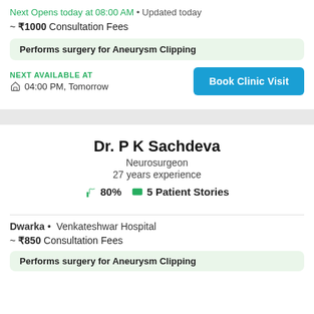Next Opens today at 08:00 AM • Updated today
~ ₹1000 Consultation Fees
Performs surgery for Aneurysm Clipping
NEXT AVAILABLE AT
04:00 PM, Tomorrow
Book Clinic Visit
Dr. P K Sachdeva
Neurosurgeon
27 years experience
👍80%  💬 5 Patient Stories
Dwarka • Venkateshwar Hospital
~ ₹850 Consultation Fees
Performs surgery for Aneurysm Clipping